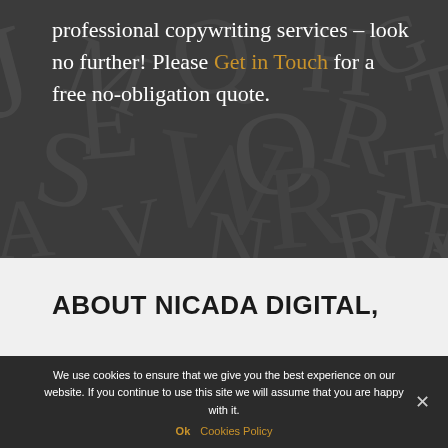professional copywriting services – look no further! Please Get in Touch for a free no-obligation quote.
[Figure (illustration): Dark background with large scattered typographic letters in various sizes and angles, creating a letterpress/typography texture effect]
ABOUT NICADA DIGITAL,
COPYWRITING AGENCY / COPYWRITING SERVICES
We use cookies to ensure that we give you the best experience on our website. If you continue to use this site we will assume that you are happy with it.
Ok  Cookies Policy